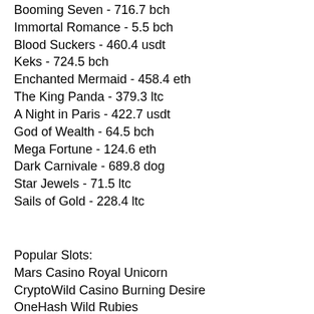Booming Seven - 716.7 bch
Immortal Romance - 5.5 bch
Blood Suckers - 460.4 usdt
Keks - 724.5 bch
Enchanted Mermaid - 458.4 eth
The King Panda - 379.3 ltc
A Night in Paris - 422.7 usdt
God of Wealth - 64.5 bch
Mega Fortune - 124.6 eth
Dark Carnivale - 689.8 dog
Star Jewels - 71.5 ltc
Sails of Gold - 228.4 ltc
Popular Slots:
Mars Casino Royal Unicorn
CryptoWild Casino Burning Desire
OneHash Wild Rubies
King Billy Casino Blast! Boom! Bang!
King Billy Casino Lucky Haunter
BetChain Casino Witch Pickings
Bitcoin Penguin Casino Monsters Cash